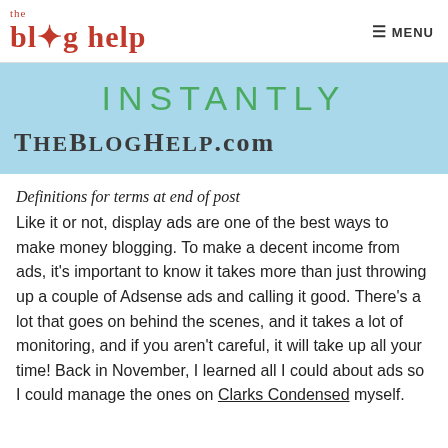the blog help | MENU
[Figure (infographic): Light blue banner with 'INSTANTLY' in green uppercase letters and 'TheBlogHelp.com' in dark serif text below]
Definitions for terms at end of post
Like it or not, display ads are one of the best ways to make money blogging. To make a decent income from ads, it's important to know it takes more than just throwing up a couple of Adsense ads and calling it good. There's a lot that goes on behind the scenes, and it takes a lot of monitoring, and if you aren't careful, it will take up all your time! Back in November, I learned all I could about ads so I could manage the ones on Clarks Condensed myself.